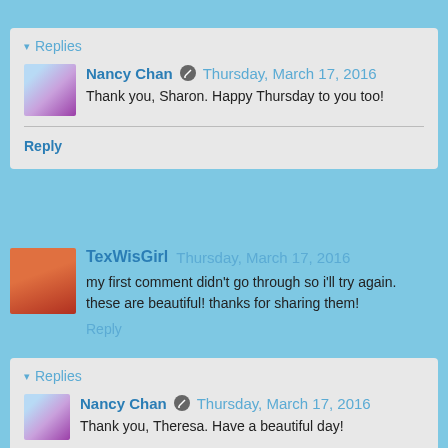▾ Replies
Nancy Chan ✎ Thursday, March 17, 2016
Thank you, Sharon. Happy Thursday to you too!
Reply
TexWisGirl  Thursday, March 17, 2016
my first comment didn't go through so i'll try again. these are beautiful! thanks for sharing them!
Reply
▾ Replies
Nancy Chan ✎ Thursday, March 17, 2016
Thank you, Theresa. Have a beautiful day!
Reply